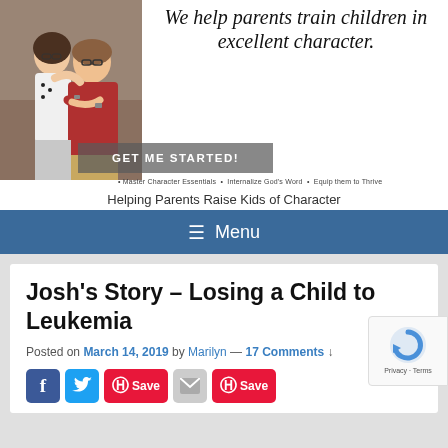[Figure (photo): A smiling couple embracing, woman hugging man from behind]
We help parents train children in excellent character.
GET ME STARTED!
• Master Character Essentials • Internalize God's Word • Equip them to Thrive
Helping Parents Raise Kids of Character
≡ Menu
Josh's Story – Losing a Child to Leukemia
Posted on March 14, 2019 by Marilyn — 17 Comments ↓